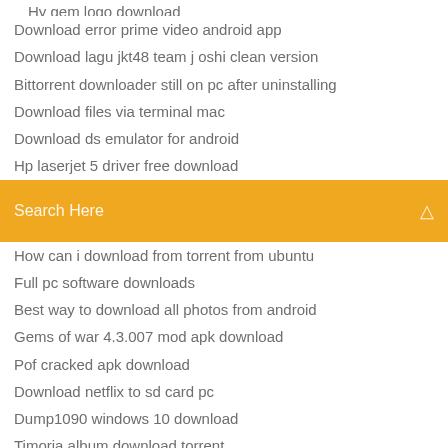Hy gem logo download
Download error prime video android app
Download lagu jkt48 team j oshi clean version
Bittorrent downloader still on pc after uninstalling
Download files via terminal mac
Download ds emulator for android
Hp laserjet 5 driver free download
[Figure (screenshot): Orange search bar with text 'Search Here' and a small icon on the right]
How can i download from torrent from ubuntu
Full pc software downloads
Best way to download all photos from android
Gems of war 4.3.007 mod apk download
Pof cracked apk download
Download netflix to sd card pc
Dump1090 windows 10 download
Timoria album download torrent
Japps tube app download
Baby driver movie english subtitles download